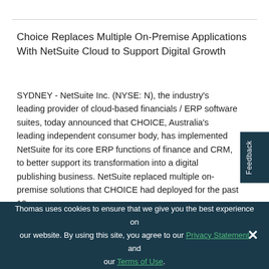Choice Replaces Multiple On-Premise Applications With NetSuite Cloud to Support Digital Growth
SYDNEY - NetSuite Inc. (NYSE: N), the industry's leading provider of cloud-based financials / ERP software suites, today announced that CHOICE, Australia's leading independent consumer body, has implemented NetSuite for its core ERP functions of finance and CRM, to better support its transformation into a digital publishing business. NetSuite replaced multiple on-premise solutions that CHOICE had deployed for the past 10 years.
NetSuite allows publishers like CHOICE to run their media
Thomas uses cookies to ensure that we give you the best experience on our website. By using this site, you agree to our Privacy Statement and our Terms of Use.